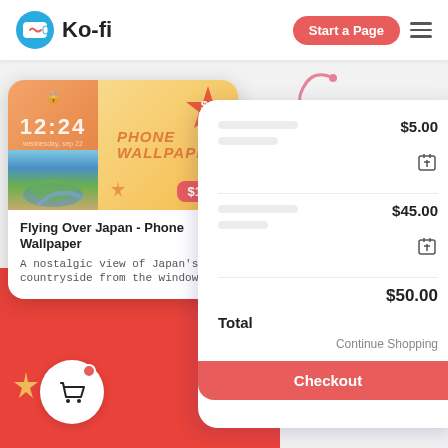[Figure (screenshot): Ko-fi website screenshot showing a product card for 'Flying Over Japan - Phone Wallpaper' priced at $1.00, a shopping cart checkout panel with items totaling $50.00, a Checkout button, a Start a Page button, and Ko-fi logo in the navbar. A cart icon appears in the bottom-left on a red background.]